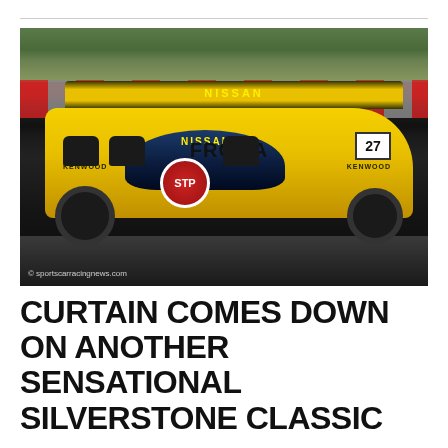[Figure (photo): Yellow Nissan Group C race car number 27 with STP and FROMA livery and KENWOOD sponsors, racing on track at Silverstone Classic event. Red barriers visible in background along with spectators.]
© sportscarracingnews.com
CURTAIN COMES DOWN ON ANOTHER SENSATIONAL SILVERSTONE CLASSIC